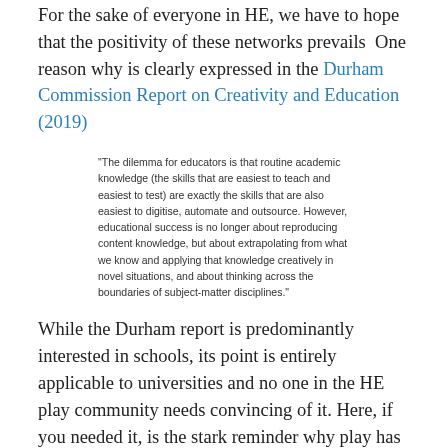For the sake of everyone in HE, we have to hope that the positivity of these networks prevails  One reason why is clearly expressed in the Durham Commission Report on Creativity and Education (2019)
"The dilemma for educators is that routine academic knowledge (the skills that are easiest to teach and easiest to test) are exactly the skills that are also easiest to digitise, automate and outsource. However, educational success is no longer about reproducing content knowledge, but about extrapolating from what we know and applying that knowledge creatively in novel situations, and about thinking across the boundaries of subject-matter disciplines."
While the Durham report is predominantly interested in schools, its point is entirely applicable to universities and no one in the HE play community needs convincing of it. Here, if you needed it, is the stark reminder why play has its place in HE.
It is supported by the views of participants in my data gathering for  The Value of Play in HE  So far I have had